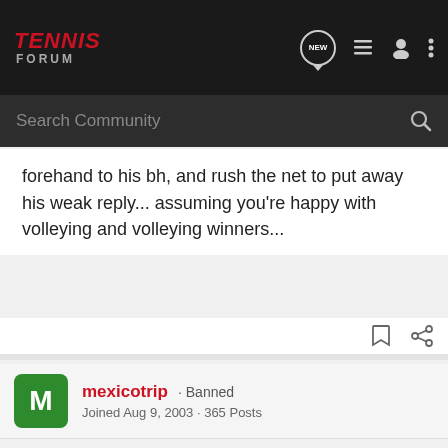TENNIS FORUM
forehand to his bh, and rush the net to put away his weak reply... assuming you're happy with volleying and volleying winners...
mexicotrip · Banned
Joined Aug 9, 2003 · 365 Posts
Discussion Starter · #4 · Aug 16, 2003
controlfreak said:
Well, the obvious #1 tactic would seem to be to twat your forehand to